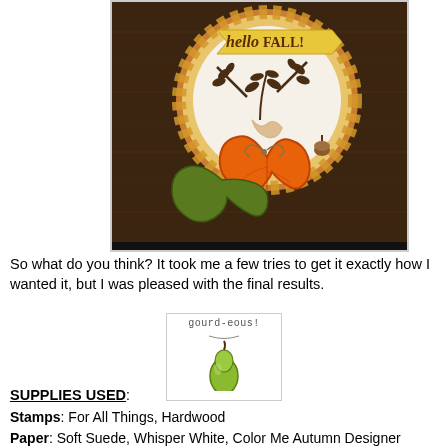[Figure (photo): A handmade fall-themed greeting card on a dark wood background. Features a circular die-cut with autumn leaf branches and a banner saying 'hello FALL!', layered with large orange and green oak leaves, twine, and small acorns.]
So what do you think?  It took me a few tries to get it exactly how I wanted it, but I was pleased with the final results.
[Figure (illustration): Small stamp image showing a gourd/pear shape with the text 'gourd-eous!' above it, with a small curved line beneath the text.]
SUPPLIES USED:
Stamps:  For All Things, Hardwood
Paper:  Soft Suede, Whisper White, Color Me Autumn Designer Series Paper